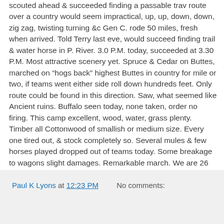scouted ahead & succeeded finding a passable trav route over a country would seem impractical, up, up, down, down, zig zag, twisting turning &c Gen C. rode 50 miles, fresh when arrived. Told Terry last eve, would succeed finding trail & water horse in P. River. 3.0 P.M. today, succeeded at 3.30 P.M. Most attractive scenery yet. Spruce & Cedar on Buttes, marched on "hogs back" highest Buttes in country for mile or two, if teams went either side roll down hundreds feet. Only route could be found in this direction. Saw, what seemed like Ancient ruins. Buffalo seen today, none taken, order no firing. This camp excellent, wood, water, grass plenty. Timber all Cottonwood of smallish or medium size. Every one tired out, & stock completely so. Several mules & few horses played dropped out of teams today. Some breakage to wagons slight damages. Remarkable march. We are 26 miles in direct line from camp on. OFallon Creek last night. Have marched thus far 32.3 miles. Its 20 miles from here to mouth P. River. Fish'
Paul K Lyons at 12:23 PM   No comments: